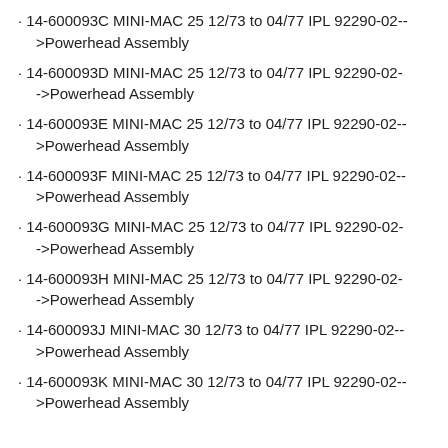· 14-600093C MINI-MAC 25 12/73 to 04/77 IPL 92290-02-->Powerhead Assembly
· 14-600093D MINI-MAC 25 12/73 to 04/77 IPL 92290-02-->Powerhead Assembly
· 14-600093E MINI-MAC 25 12/73 to 04/77 IPL 92290-02-->Powerhead Assembly
· 14-600093F MINI-MAC 25 12/73 to 04/77 IPL 92290-02-->Powerhead Assembly
· 14-600093G MINI-MAC 25 12/73 to 04/77 IPL 92290-02-->Powerhead Assembly
· 14-600093H MINI-MAC 25 12/73 to 04/77 IPL 92290-02-->Powerhead Assembly
· 14-600093J MINI-MAC 30 12/73 to 04/77 IPL 92290-02-->Powerhead Assembly
· 14-600093K MINI-MAC 30 12/73 to 04/77 IPL 92290-02-->Powerhead Assembly